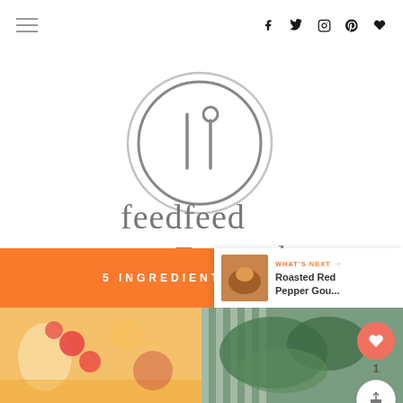feedfeed Featured
[Figure (logo): feedfeed Featured logo — circular utensil icon above the text 'feedfeed Featured' in grey script]
[Figure (infographic): Floating heart/like button (salmon pink circle) with count '1' and share button below]
5 INGREDIENT RECIPES
[Figure (other): WHAT'S NEXT notification panel: 'Roasted Red Pepper Gou...' with food thumbnail]
[Figure (photo): Left food photo strip showing strawberries and colorful dessert on orange/yellow background]
[Figure (photo): Right food photo strip showing green vegetables with striped textile background]